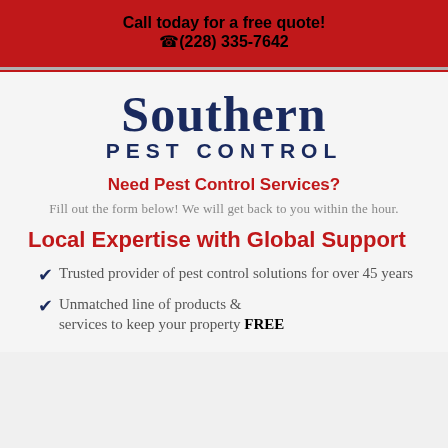Call today for a free quote!
☎ (228) 335-7642
[Figure (logo): Southern Pest Control logo — large serif text SOUTHERN above PEST CONTROL in navy blue]
Need Pest Control Services?
Fill out the form below! We will get back to you within the hour.
Local Expertise with Global Support
Trusted provider of pest control solutions for over 45 years
Unmatched line of products & services to keep your property FREE